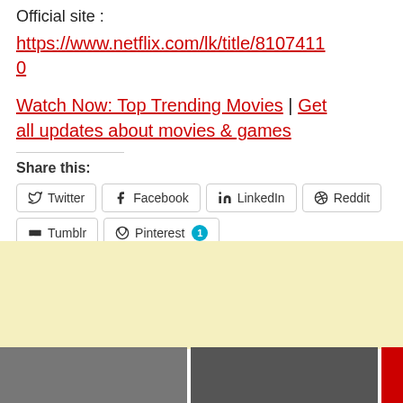Official site :
https://www.netflix.com/lk/title/81074110
Watch Now: Top Trending Movies | Get all updates about movies & games
Share this:
Twitter | Facebook | LinkedIn | Reddit | Tumblr | Pinterest 1
Like this:
[Figure (screenshot): Yellow advertisement block with two movie thumbnail images at the bottom and a close button overlay]